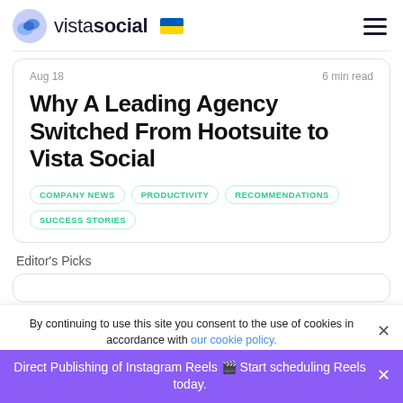vistasocial
Aug 18   6 min read
Why A Leading Agency Switched From Hootsuite to Vista Social
COMPANY NEWS
PRODUCTIVITY
RECOMMENDATIONS
SUCCESS STORIES
Editor's Picks
By continuing to use this site you consent to the use of cookies in accordance with our cookie policy.
Direct Publishing of Instagram Reels 🎬 Start scheduling Reels today.